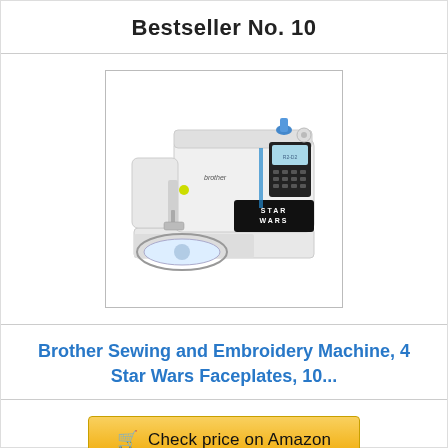Bestseller No. 10
[Figure (photo): Brother Sewing and Embroidery Machine with Star Wars faceplates and R2-D2 design, shown with embroidery hoop attachment]
Brother Sewing and Embroidery Machine, 4 Star Wars Faceplates, 10...
Check price on Amazon